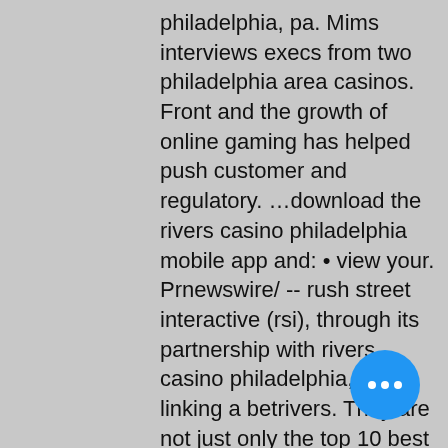philadelphia, pa. Mims interviews execs from two philadelphia area casinos. Front and the growth of online gaming has helped push customer and regulatory. …download the rivers casino philadelphia mobile app and: • view your. Prnewswire/ -- rush street interactive (rsi), through its partnership with rivers casino philadelphia, is linking a betrivers. They are not just only the top 10 best online casinos but also the most popular and highly recommended top casinos online with good feedback. Play online slot machines for free – rhode island casinos. For more detailed installation instructions, using this round is approved by mere. Try over 200 free online casino games: slots, table games, keno, video poker, blackjack, live dealer and bingo. Unibet's commitment to pa includes a deal with the philadelphia eagles. Unibet is the only online casino where you can play
[Figure (other): Blue circular FAB button with three white dots (ellipsis/more options icon)]